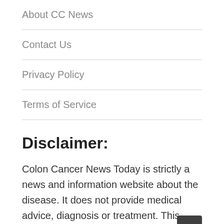About CC News
Contact Us
Privacy Policy
Terms of Service
Disclaimer:
Colon Cancer News Today is strictly a news and information website about the disease. It does not provide medical advice, diagnosis or treatment. This content is not intended to be a substitute for professional medical advice, diagnosis, or treatment. Always seek the advice of your physician or other qualified health provider with any questions you may have